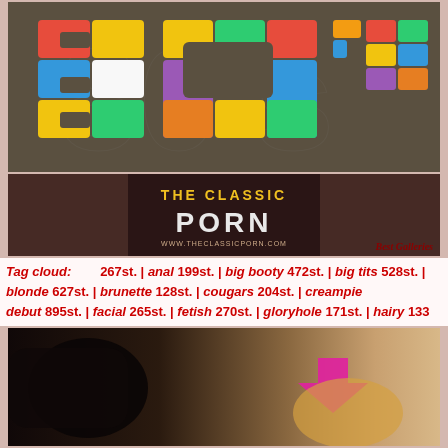[Figure (illustration): Colorful 80s style logo with large multicolored block-patterned text on dark brown background]
[Figure (illustration): The Classic Porn website banner with gold and white text, URL www.theclassicporn.com, and Best Galleries label]
Tag cloud:  267st. | anal 199st. | big booty 472st. | big tits 528st. | blonde 627st. | brunette 128st. | cougars 204st. | creampie debut 895st. | facial 265st. | fetish 270st. | gloryhole 171st. | hairy 133 tattoos 516st. | petite 740st. | shaved 204st. | swallow 1178st. | tattoos
[Figure (photo): Photo of a blonde woman with a pink upward arrow, dark background]